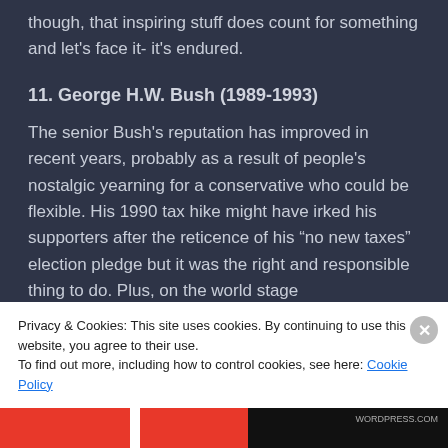though, that inspiring stuff does count for something and let's face it- it's endured.
11. George H.W. Bush (1989-1993)
The senior Bush's reputation has improved in recent years, probably as a result of people's nostalgic yearning for a conservative who could be flexible. His 1990 tax hike might have irked his supporters after the reticence of his "no new taxes" election pledge but it was the right and responsible thing to do. Plus, on the world stage
Privacy & Cookies: This site uses cookies. By continuing to use this website, you agree to their use.
To find out more, including how to control cookies, see here: Cookie Policy
Close and accept